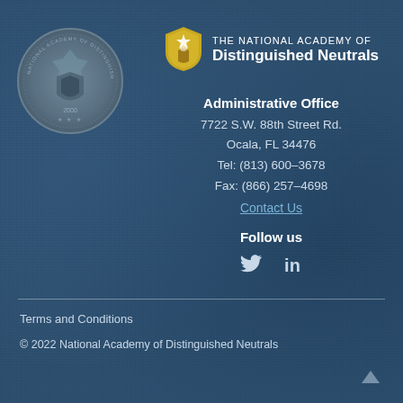[Figure (logo): Circular seal of the National Academy of Distinguished Neutralals, gray/silver tone with eagle and shield emblem, year 2000]
[Figure (logo): Gold/yellow shield logo of The National Academy of Distinguished Neutrals with star and figure emblem]
THE NATIONAL ACADEMY OF DISTINGUISHED NEUTRALS
Administrative Office
7722 S.W. 88th Street Rd.
Ocala, FL 34476
Tel: (813) 600-3678
Fax: (866) 257-4698
Contact Us
Follow us
[Figure (illustration): Twitter bird icon (white) and LinkedIn 'in' icon (white) social media icons]
Terms and Conditions
© 2022 National Academy of Distinguished Neutrals